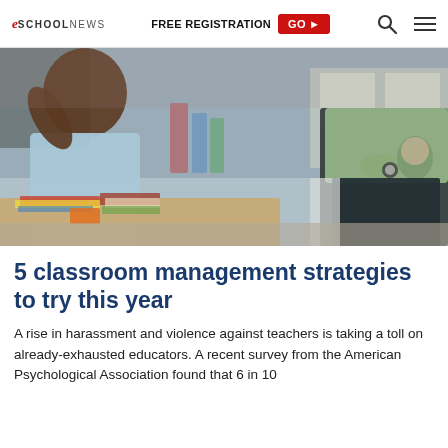eSchool News | FREE REGISTRATION GO ▶
[Figure (photo): A teacher sitting on a desk interacting with a student in a classroom setting. The student is in the foreground, and school supplies and books are visible on the desk.]
5 classroom management strategies to try this year
A rise in harassment and violence against teachers is taking a toll on already-exhausted educators. A recent survey from the American Psychological Association found that 6 in 10